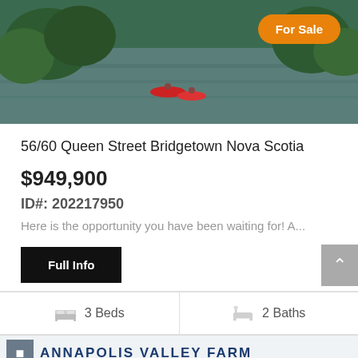[Figure (photo): Aerial/riverside scenic photo showing a river with kayakers and green trees, with an orange 'For Sale' badge in the top right]
56/60 Queen Street Bridgetown Nova Scotia
$949,900
ID#: 202217950
Here is the opportunity you have been waiting for! A...
Full Info
3 Beds
2 Baths
[Figure (photo): Partial view of a second listing card with a blue scenic photo and text 'ANNAPOLIS VALLEY FARM' partially visible]